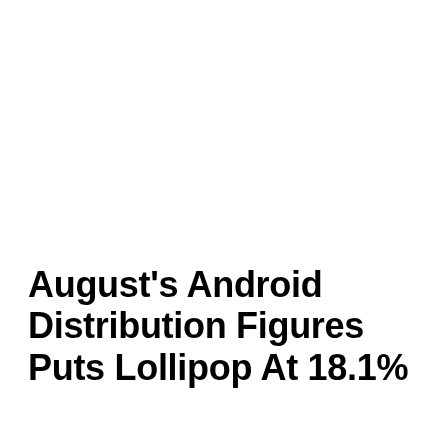August's Android Distribution Figures Puts Lollipop At 18.1%